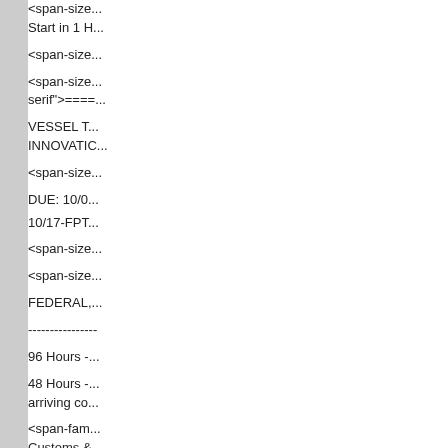<span-size... Start in 1 H...
<span-size...
<span-size... serif">=====...
VESSEL T... INNOVATIC...
<span-size...
DUE:  10/0...
10/17-FPT...
<span-size...
<span-size...
FEDERAL,...
----------------
96 Hours -...
48 Hours -... arriving co...
<span-fam... Customs &... foreign car... family:"Cer...